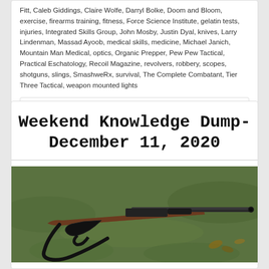Fitt, Caleb Giddings, Claire Wolfe, Darryl Bolke, Doom and Bloom, exercise, firearms training, fitness, Force Science Institute, gelatin tests, injuries, Integrated Skills Group, John Mosby, Justin Dyal, knives, Larry Lindenman, Massad Ayoob, medical skills, medicine, Michael Janich, Mountain Man Medical, optics, Organic Prepper, Pew Pew Tactical, Practical Eschatology, Recoil Magazine, revolvers, robbery, scopes, shotguns, slings, SmashweRx, survival, The Complete Combatant, Tier Three Tactical, weapon mounted lights
View Post
Weekend Knowledge Dump- December 11, 2020
[Figure (photo): A shotgun with sling lying on grass with autumn leaves]